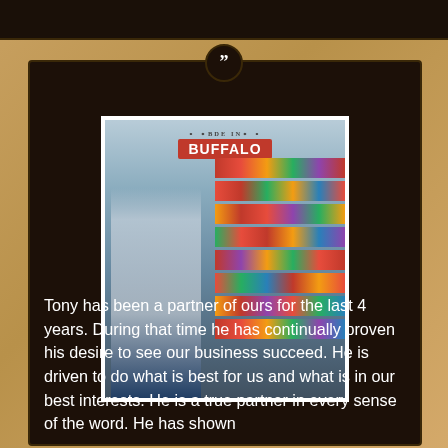[Figure (photo): Photo of a man named Tony standing in front of a grocery store shelf display labeled 'Made in Buffalo', filled with various sauce bottles and condiments.]
Tony has been a partner of ours for the last 4 years. During that time he has continually proven his desire to see our business succeed. He is driven to do what is best for us and what is in our best interests. He is a true partner in every sense of the word. He has shown